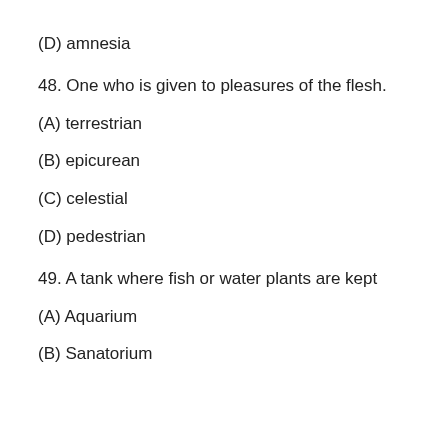(D) amnesia
48. One who is given to pleasures of the flesh.
(A) terrestrian
(B) epicurean
(C) celestial
(D) pedestrian
49. A tank where fish or water plants are kept
(A) Aquarium
(B) Sanatorium